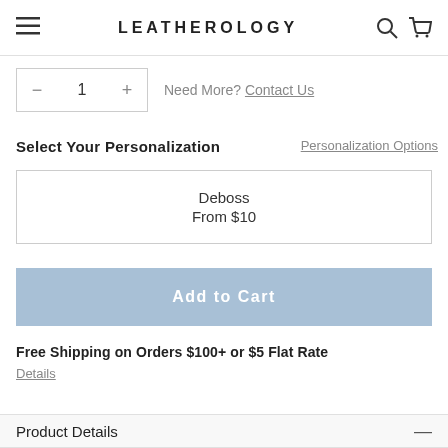LEATHEROLOGY
- 1 + Need More? Contact Us
Select Your Personalization
Personalization Options
Deboss
From $10
Add to Cart
Free Shipping on Orders $100+ or $5 Flat Rate
Details
Product Details